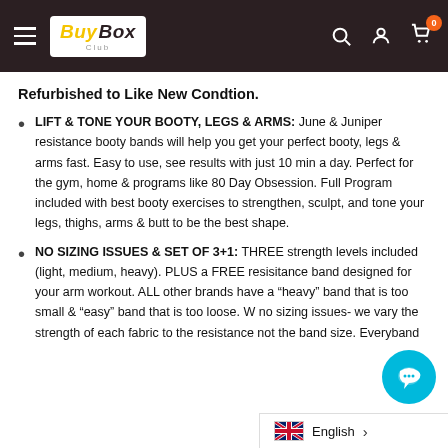BuyBox Club header navigation
Refurbished to Like New Condtion.
LIFT & TONE YOUR BOOTY, LEGS & ARMS: June & Juniper resistance booty bands will help you get your perfect booty, legs & arms fast. Easy to use, see results with just 10 min a day. Perfect for the gym, home & programs like 80 Day Obsession. Full Program included with best booty exercises to strengthen, sculpt, and tone your legs, thighs, arms & butt to be the best shape.
NO SIZING ISSUES & SET OF 3+1: THREE strength levels included (light, medium, heavy). PLUS a FREE resisitance band designed for your arm workout. ALL other brands have a “heavy” band that is too small & “easy” band that is too loose. W no sizing issues- we vary the strength of each fabric to the resistance not the band size. Everyband